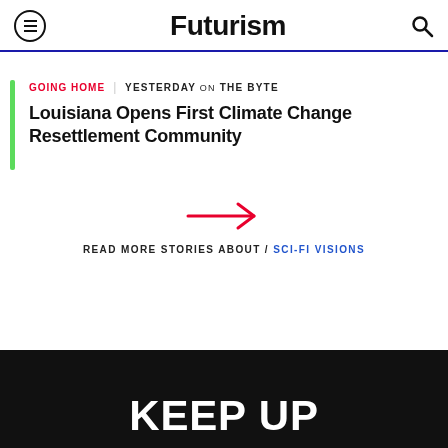Futurism
GOING HOME | YESTERDAY on THE BYTE
Louisiana Opens First Climate Change Resettlement Community
[Figure (other): Red right-pointing arrow navigation icon]
READ MORE STORIES ABOUT / SCI-FI VISIONS
KEEP UP